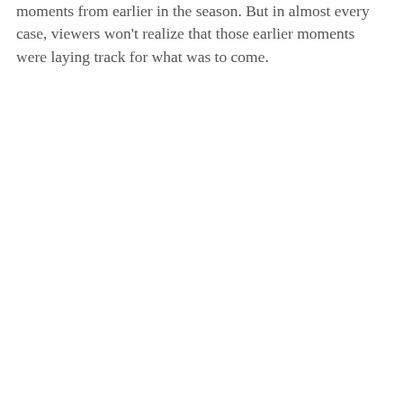moments from earlier in the season. But in almost every case, viewers won't realize that those earlier moments were laying track for what was to come.